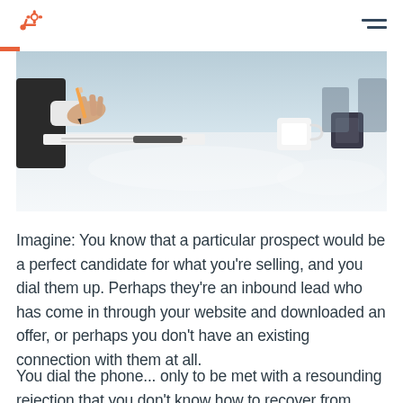HubSpot logo and navigation
[Figure (photo): Close-up photo of a person's hand holding a pencil over papers on a desk, with a white coffee mug and office items in the background, light and airy office setting]
Imagine: You know that a particular prospect would be a perfect candidate for what you're selling, and you dial them up. Perhaps they're an inbound lead who has come in through your website and downloaded an offer, or perhaps you don't have an existing connection with them at all.
You dial the phone... only to be met with a resounding rejection that you don't know how to recover from.